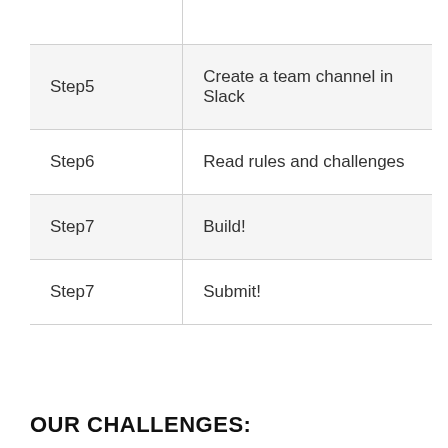| Step | Description |
| --- | --- |
| Step5 | Create a team channel in Slack |
| Step6 | Read rules and challenges |
| Step7 | Build! |
| Step7 | Submit! |
OUR CHALLENGES: